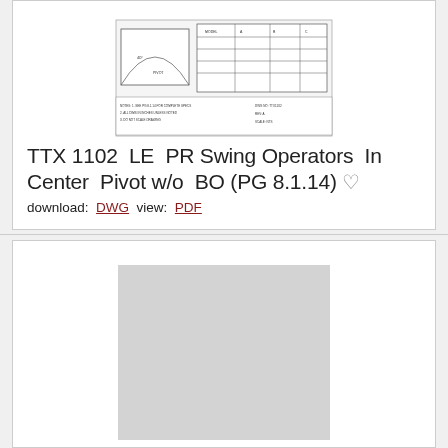[Figure (schematic): Technical schematic drawing of TTX 1102 LE PR Swing Operators In Center Pivot w/o BO, showing plan and elevation views with dimensions and component labels]
TTX 1102  LE  PR Swing Operators  In Center  Pivot w/o  BO (PG 8.1.14) ♡
download:  DWG  view:  PDF
[Figure (schematic): Second schematic drawing placeholder, shown as gray loading/blank area]